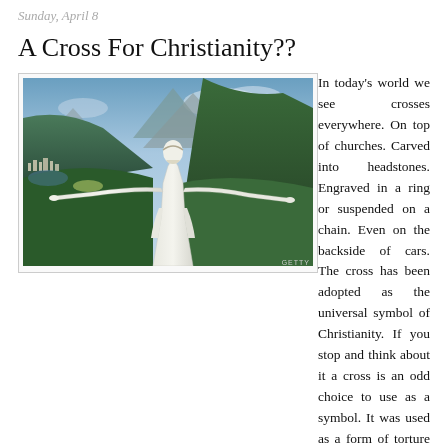Sunday, April 8
A Cross For Christianity??
[Figure (photo): Aerial photograph of Christ the Redeemer statue in Rio de Janeiro, Brazil, with outstretched arms, mountains and city visible in background. Getty watermark in bottom right corner.]
In today's world we see crosses everywhere. On top of churches. Carved into headstones. Engraved in a ring or suspended on a chain. Even on the backside of cars. The cross has been adopted as the universal symbol of Christianity. If you stop and think about it a cross is an odd choice to use as a symbol. It was used as a form of torture and eventually death. So how did it come to epitomize a worldwide movement of God's hope and love? Symbols of other faiths are more pleasing: the six-pointed star of David, the crescent moon of